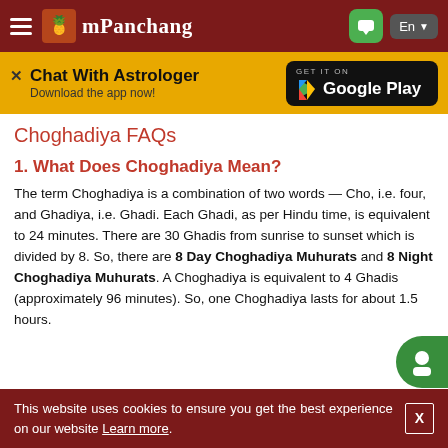mPanchang
[Figure (screenshot): Chat With Astrologer banner with Google Play download button]
Choghadiya FAQs
1. What Does Choghadiya Mean?
The term Choghadiya is a combination of two words — Cho, i.e. four, and Ghadiya, i.e. Ghadi. Each Ghadi, as per Hindu time, is equivalent to 24 minutes. There are 30 Ghadis from sunrise to sunset which is divided by 8. So, there are 8 Day Choghadiya Muhurats and 8 Night Choghadiya Muhurats. A Choghadiya is equivalent to 4 Ghadis (approximately 96 minutes). So, one Choghadiya lasts for about 1.5 hours.
This website uses cookies to ensure you get the best experience on our website Learn more.